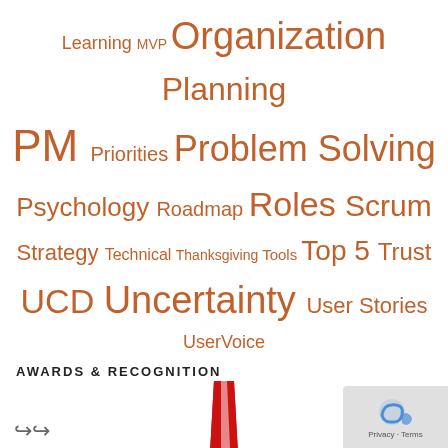[Figure (infographic): Tag cloud with product management related terms in various sizes, all in orange/brown color: Learning, MVP, Organization, Planning, PM, Priorities, Problem Solving, Psychology, Roadmap, Roles, Scrum, Strategy, Technical, Thanksgiving, Tools, Top 5, Trust, UCD, Uncertainty, User Stories, UserVoice]
AWARDS & RECOGNITION
[Figure (illustration): Gold medal award badge with red ribbon at top. Badge reads: AWARDED TOP 40 PRODUCT MANAGEMENT BLOG with a trophy icon.]
FeedSpot Top 40 PdM Blogs 2017